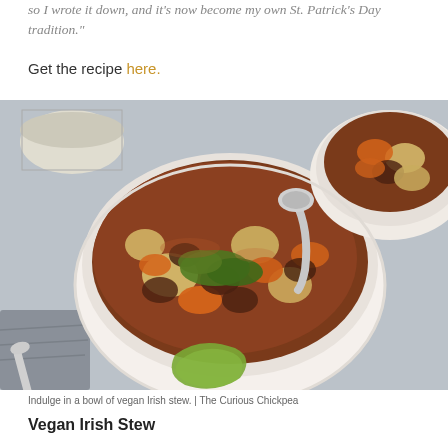so I wrote it down, and it's now become my own St. Patrick's Day tradition."
Get the recipe here.
[Figure (photo): A bowl of vegan Irish stew with chunks of potato, carrots, and vegetables in a rich reddish-brown broth, garnished with fresh herbs. A spoon rests in the bowl. A second bowl is partially visible in the upper right. A green piece of bread and a gray cloth napkin are visible in the lower left.]
Indulge in a bowl of vegan Irish stew. | The Curious Chickpea
Vegan Irish Stew